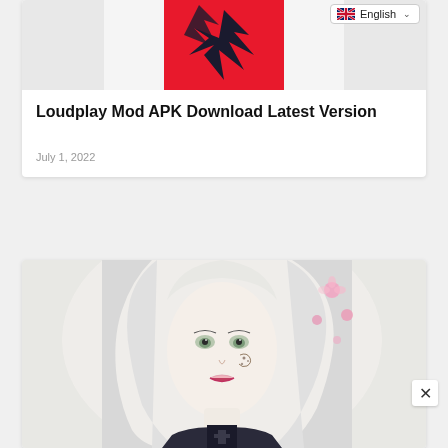[Figure (screenshot): Loudplay app logo on red background with black geometric/origami-style bird shape]
Loudplay Mod APK Download Latest Version
July 1, 2022
[Figure (illustration): Anime-style illustration of a white-haired character with face markings wearing dark clothing, with pink floral elements]